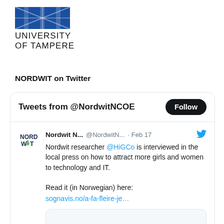[Figure (logo): University of Tampere logo: blue geometric square icon above the text UNIVERSITY OF TAMPERE]
NORDWIT on Twitter
[Figure (screenshot): Twitter widget showing tweets from @NordwitNCOE with a Follow button. Tweet by Nordwit N... @NordwitN... · Feb 17: Nordwit researcher @HiGCo is interviewed in the local press on how to attract more girls and women to technology and IT. Read it (in Norwegian) here: sognavis.no/a-fa-fleire-je…]